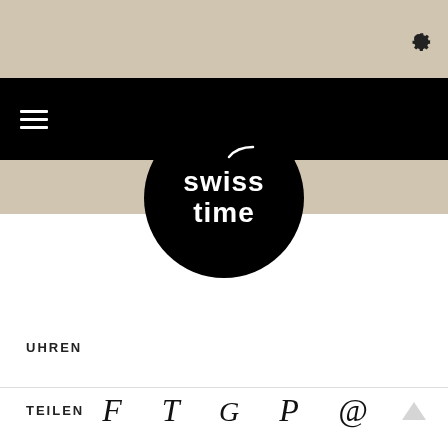Settings gear icon (top-right)
[Figure (logo): Swiss Time logo — black circle with white text 'swiss time' and a tick/check mark above]
UHREN
TEILEN  F  T  G  P  @